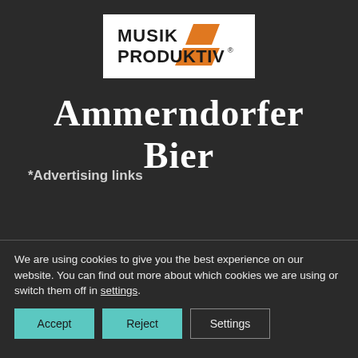[Figure (logo): Musik Produktiv logo: black bold text 'MUSIK PRODUKTIV' with orange diagonal stripe/parallelogram shapes on white background]
Ammerndorfer Bier
*Advertising links
We are using cookies to give you the best experience on our website. You can find out more about which cookies we are using or switch them off in settings.
Accept | Reject | Settings